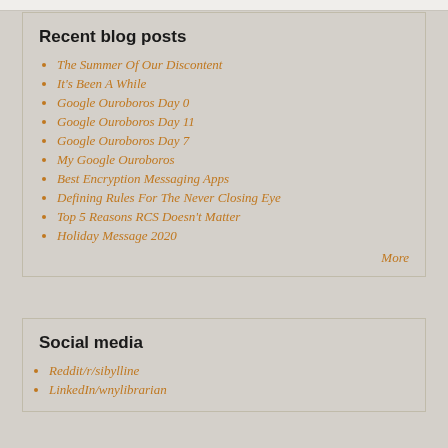Recent blog posts
The Summer Of Our Discontent
It's Been A While
Google Ouroboros Day 0
Google Ouroboros Day 11
Google Ouroboros Day 7
My Google Ouroboros
Best Encryption Messaging Apps
Defining Rules For The Never Closing Eye
Top 5 Reasons RCS Doesn't Matter
Holiday Message 2020
More
Social media
Reddit/r/sibylline
LinkedIn/wnylibrarian